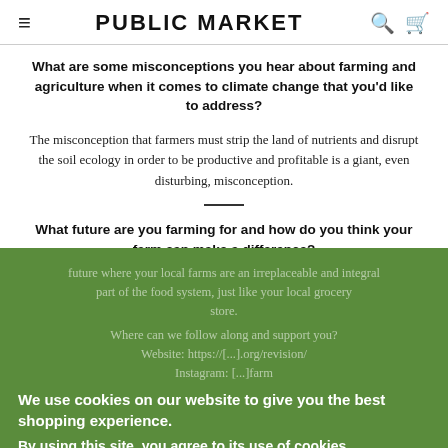PUBLIC MARKET
What are some misconceptions you hear about farming and agriculture when it comes to climate change that you'd like to address?
The misconception that farmers must strip the land of nutrients and disrupt the soil ecology in order to be productive and profitable is a giant, even disturbing, misconception.
What future are you farming for and how do you think your farm can make a difference?
We're farming for our community of Boston and a future where locally grown and sustainable food is the norm. We foresee a future where your local farms are an irreplaceable and integral part of the food system, just like your local grocery store.
Where can we follow along and support you?
Website: https://[...].org/revision/
Instagram: [...] farm
We use cookies on our website to give you the best shopping experience.
By using this site, you agree to its use of cookies.